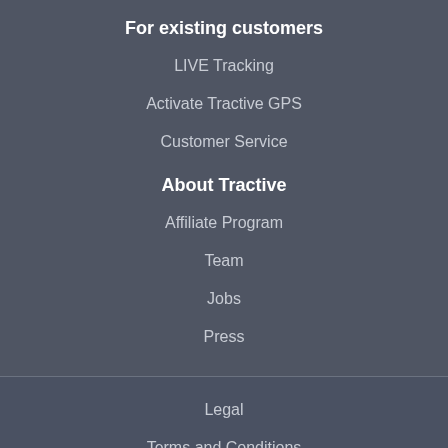For existing customers
LIVE Tracking
Activate Tractive GPS
Customer Service
About Tractive
Affiliate Program
Team
Jobs
Press
Legal
Terms and Conditions
Privacy and Cookie Policy